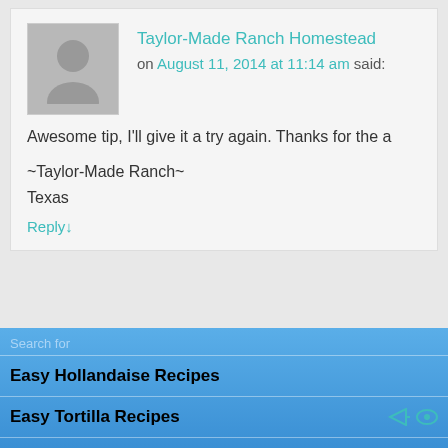Taylor-Made Ranch Homestead
on August 11, 2014 at 11:14 am said:
Awesome tip, I'll give it a try again. Thanks for the a...
~Taylor-Made Ranch~
Texas
Reply↓
Julie V.
on August 11, 2014 at 11:49 pm said:
Search for
Easy Hollandaise Recipes
Easy Tortilla Recipes